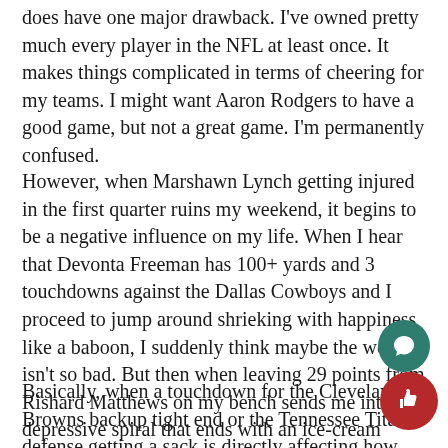does have one major drawback. I've owned pretty much every player in the NFL at least once. It makes things complicated in terms of cheering for my teams. I might want Aaron Rodgers to have a good game, but not a great game. I'm permanently confused.
However, when Marshawn Lynch getting injured in the first quarter ruins my weekend, it begins to be a negative influence on my life. When I hear that Devonta Freeman has 100+ yards and 3 touchdowns against the Dallas Cowboys and I proceed to jump around shrieking with happiness like a baboon, I suddenly think maybe the world isn't so bad. But then when leaving 29 points from Rishard Matthews on my bench sends me into a depressive spiral that ends with an ice-cream eating binge session, I realize fantasy football might actually be dangerous for my health.
Basically, when a touchdown for the Cleveland Browns backup tight end or the Tennessee Titans defense getting a sack is directly affecting how happy I am come Sunday night, my li…